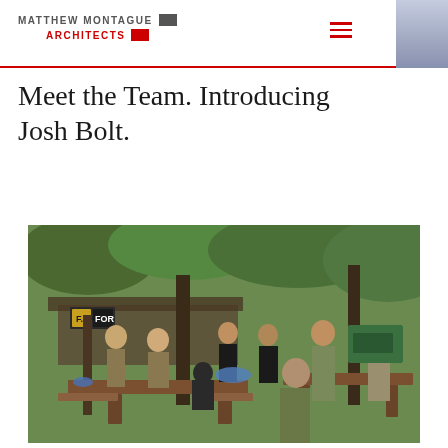MATTHEW MONTAGUE ARCHITECTS
Meet the Team. Introducing Josh Bolt.
[Figure (photo): Group of people in outdoor gear and camouflage clothing gathered around wooden picnic tables at a woodland paintball or activity centre. A sign reading 'FORQ' or similar is visible in the background. Trees and a shelter structure are visible.]